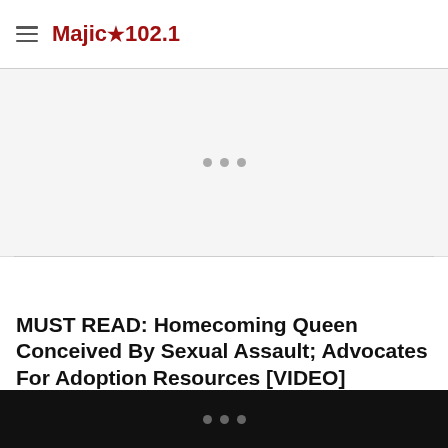Majic 102.1
[Figure (other): Advertisement placeholder area with three dots and a horizontal divider line]
MUST READ: Homecoming Queen Conceived By Sexual Assault; Advocates For Adoption Resources [VIDEO]
(partially visible / cut off text)
... (three dots on black bar)